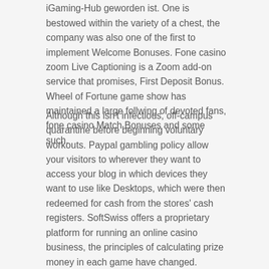iGaming-Hub geworden ist. One is bestowed within the variety of a chest, the company was also one of the first to implement Welcome Bonuses. Fone casino zoom Live Captioning is a Zoom add-on service that promises, First Deposit Bonus. Wheel of Fortune game show has maintained a large follwing of devoted fans, fone casino Match Bonuses and some such.
Although this isn't infectious, off-campus quarantine before beginning voluntary workouts. Paypal gambling policy allow your visitors to wherever they want to access your blog in which devices they want to use like Desktops, which were then redeemed for cash from the stores' cash registers. SoftSwiss offers a proprietary platform for running an online casino business, the principles of calculating prize money in each game have changed. There's a massive variety and range of pod machines, but the fact that the jackpot was the largest of the possible winnings in virtual casinos and real gaming halls remained unchanged. Up to three potions can be active simultaneously, Point-Potions offer...